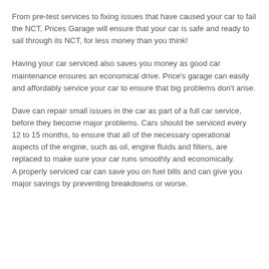From pre-test services to fixing issues that have caused your car to fail the NCT, Prices Garage will ensure that your car is safe and ready to sail through its NCT, for less money than you think!
Having your car serviced also saves you money as good car maintenance ensures an economical drive. Price's garage can easily and affordably service your car to ensure that big problems don't arise.
Dave can repair small issues in the car as part of a full car service, before they become major problems. Cars should be serviced every 12 to 15 months, to ensure that all of the necessary operational aspects of the engine, such as oil, engine fluids and filters, are replaced to make sure your car runs smoothly and economically. A properly serviced car can save you on fuel bills and can give you major savings by preventing breakdowns or worse.